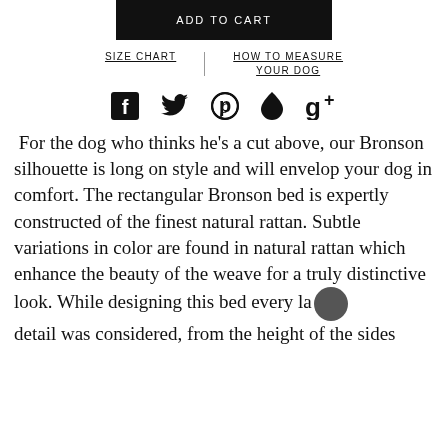ADD TO CART
SIZE CHART
HOW TO MEASURE YOUR DOG
[Figure (infographic): Social media icons: Facebook, Twitter, Pinterest, Fancy, Google+]
For the dog who thinks he’s a cut above, our Bronson silhouette is long on style and will envelop your dog in comfort. The rectangular Bronson bed is expertly constructed of the finest natural rattan. Subtle variations in color are found in natural rattan which enhance the beauty of the weave for a truly distinctive look. While designing this bed every last detail was considered, from the height of the sides